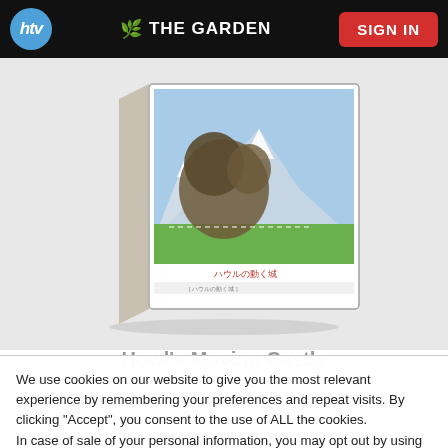htv | THE GARDEN | SIGN IN
[Figure (photo): Angled product box — a DVD/Blu-ray box set with an animated fantasy landscape (snow-capped mountains, green meadow, large tree creature) and Japanese text on the spine and front]
Howl's Moving Castle (partially visible heading)
We use cookies on our website to give you the most relevant experience by remembering your preferences and repeat visits. By clicking “Accept”, you consent to the use of ALL the cookies.
In case of sale of your personal information, you may opt out by using the link Do not sell my personal information
Cookie settings
ACCEPT